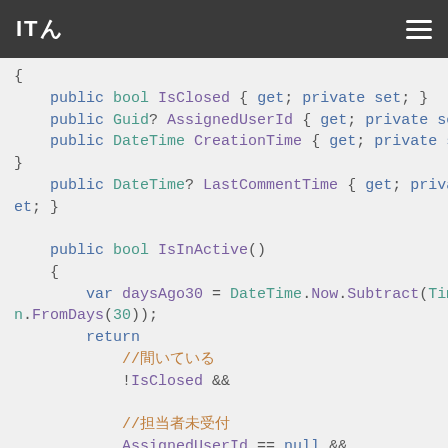ITロ
[Figure (screenshot): Code snippet showing C# class properties and IsInActive() method with DateTime comparison logic]